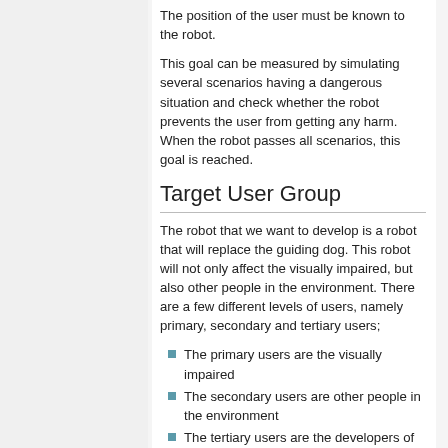The position of the user must be known to the robot.
This goal can be measured by simulating several scenarios having a dangerous situation and check whether the robot prevents the user from getting any harm. When the robot passes all scenarios, this goal is reached.
Target User Group
The robot that we want to develop is a robot that will replace the guiding dog. This robot will not only affect the visually impaired, but also other people in the environment. There are a few different levels of users, namely primary, secondary and tertiary users;
The primary users are the visually impaired
The secondary users are other people in the environment
The tertiary users are the developers of the robot
The users have different requirements of the